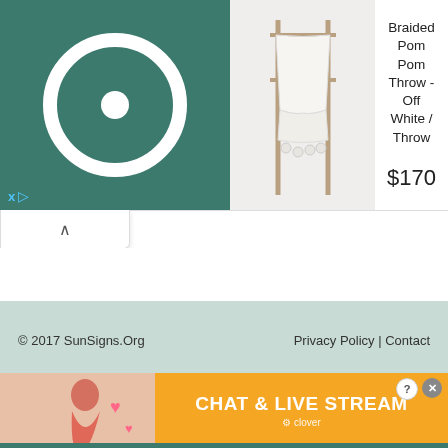[Figure (screenshot): Advertisement banner with teal circular logo icon on left, product photo of white throw blanket on towel rack in center, product name and price on right]
Braided Pom Pom Throw - Off White / Throw
$170
[Figure (screenshot): Collapse/minimize tab with upward chevron arrow]
© 2017 SunSigns.Org    Privacy Policy | Contact
[Figure (infographic): Orange bottom advertisement banner with beach photo on left, CHAT & LIVE STREAM text in white bold letters, clover branding, help and close buttons]